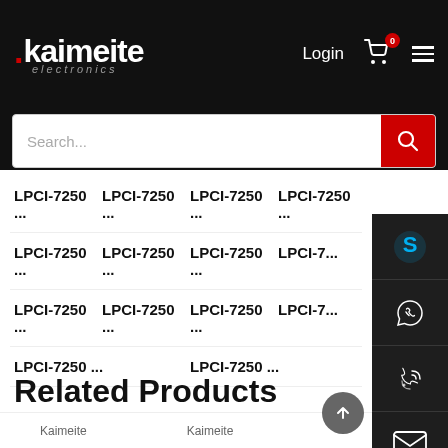Kaimeite electronics — Login, Cart (0), Menu, Search bar
LPCI-7250 ...
LPCI-7250 ...
LPCI-7250 ...
LPCI-7250 ...
LPCI-7250 ...
LPCI-7250 ...
LPCI-7250 ...
LPCI-7 ...
LPCI-7250 ...
LPCI-7250 ...
LPCI-7 ...
LPCI-7250 ...
LPCI-7250 ...
Related Products
[Figure (screenshot): Contact sidebar with Skype, WhatsApp, phone, email, and QR code icons on dark background]
[Figure (screenshot): Bottom product thumbnail row partially visible]